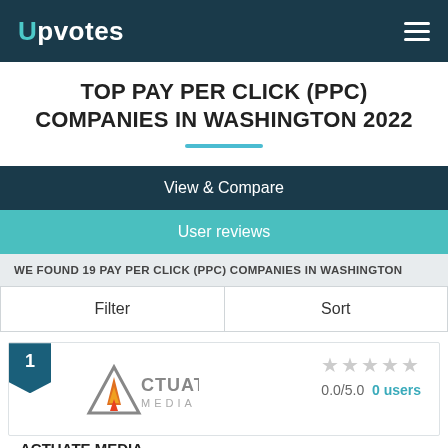Upvotes
TOP PAY PER CLICK (PPC) COMPANIES IN WASHINGTON 2022
View & Compare
User reviews
WE FOUND 19 PAY PER CLICK (PPC) COMPANIES IN WASHINGTON
Filter	Sort
1
ACTUATE MEDIA
0.0/5.0  0 users